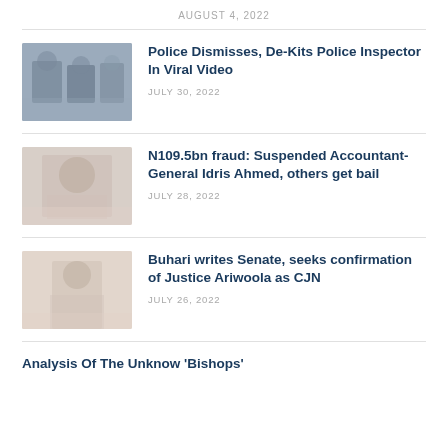AUGUST 4, 2022
[Figure (photo): Thumbnail image of police officers]
Police Dismisses, De-Kits Police Inspector In Viral Video
JULY 30, 2022
[Figure (photo): Thumbnail image related to accountant general fraud case]
N109.5bn fraud: Suspended Accountant-General Idris Ahmed, others get bail
JULY 28, 2022
[Figure (photo): Thumbnail image related to Buhari and Senate]
Buhari writes Senate, seeks confirmation of Justice Ariwoola as CJN
JULY 26, 2022
Analysis Of The Unknow 'Bishops'